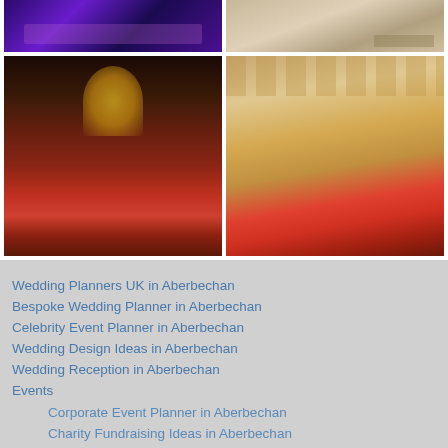[Figure (photo): Top-left photo: purple/violet lit event venue or stage with atmospheric lighting]
[Figure (photo): Top-right photo: light stone or marble floor/surface with text inscription]
[Figure (photo): Bottom-left photo: large elaborate floral arrangement with pink/red roses in dark vase with pillars in background]
[Figure (photo): Bottom-right photo: ornate ballroom or event hall with red carpet and decorative golden ceiling]
Wedding Planners UK in Aberbechan
Bespoke Wedding Planner in Aberbechan
Celebrity Event Planner in Aberbechan
Wedding Design Ideas in Aberbechan
Wedding Reception in Aberbechan
Events
Corporate Event Planner in Aberbechan
Charity Fundraising Ideas in Aberbechan
Celebration Planners in Aberbechan